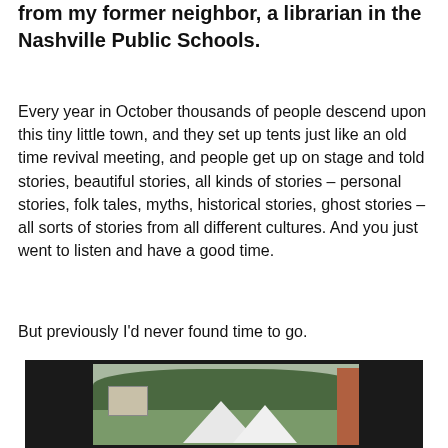from my former neighbor, a librarian in the Nashville Public Schools.
Every year in October thousands of people descend upon this tiny little town, and they set up tents just like an old time revival meeting, and people get up on stage and told stories, beautiful stories, all kinds of stories – personal stories, folk tales, myths, historical stories, ghost stories – all sorts of stories from all different cultures. And you just went to listen and have a good time.
But previously I'd never found time to go.
[Figure (photo): A photograph showing white event tents set up outdoors near a building with trees in the background, displayed within a dark-bordered video frame.]